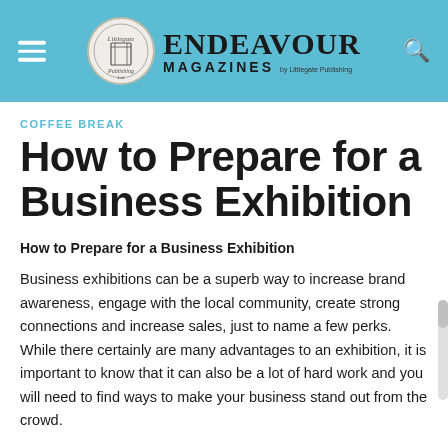ENDEAVOUR MAGAZINES by Littlegate Publishing
COFFEE BREAK
How to Prepare for a Business Exhibition
How to Prepare for a Business Exhibition
Business exhibitions can be a superb way to increase brand awareness, engage with the local community, create strong connections and increase sales, just to name a few perks. While there certainly are many advantages to an exhibition, it is important to know that it can also be a lot of hard work and you will need to find ways to make your business stand out from the crowd.